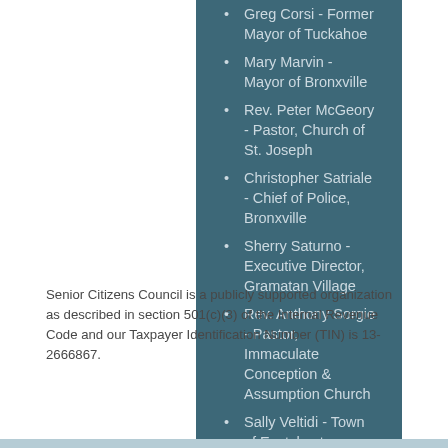Greg Corsi - Former Mayor of Tuckahoe
Mary Marvin - Mayor of Bronxville
Rev. Peter McGeory - Pastor, Church of St. Joseph
Christopher Satriale - Chief of Police, Bronxville
Sherry Saturno - Executive Director, Gramatan Village
Rev. Anthony Sorgie - Pastor, Immaculate Conception & Assumption Church
Sally Veltidi - Town of Eastchester Superintendent of Parks & Recreation / Senior Programs & Services
Laurie Walsh - NY-Presbyterian Lawrence Hospital
Senior Citizens Council is a publicly supported organization as described in section 501(c)(3) of the Internal Revenue Code and our Taxpayer Identification Number (TIN) is 13-2666867.